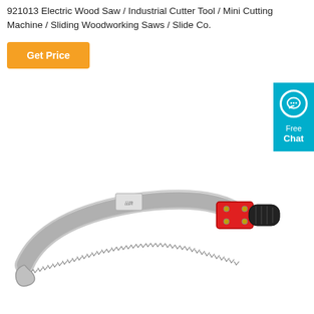921013 Electric Wood Saw / Industrial Cutter Tool / Mini Cutting Machine / Sliding Woodworking Saws / Slide Co.
[Figure (other): Orange 'Get Price' button]
[Figure (other): Cyan 'Free Chat' widget on right edge with speech bubble icon]
[Figure (photo): Product photo of a curved hand saw with silver serrated blade, red and black grip handle]